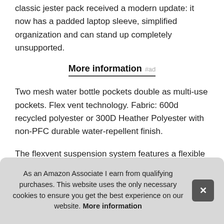classic jester pack received a modern update: it now has a padded laptop sleeve, simplified organization and can stand up completely unsupported.
More information #ad
Two mesh water bottle pockets double as multi-use pockets. Flex vent technology. Fabric: 600d recycled polyester or 300D Heather Polyester with non-PFC durable water-repellent finish.
The flexvent suspension system features a flexible yoke built from custom injection-molded and flexible shoulder straps, a padded mesh back panel and a breathable lumbar panel for com after Ass stan
As an Amazon Associate I earn from qualifying purchases. This website uses the only necessary cookies to ensure you get the best experience on our website. More information